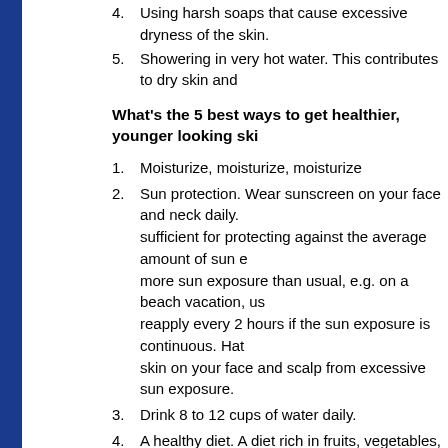4. Using harsh soaps that cause excessive dryness of the skin.
5. Showering in very hot water. This contributes to dry skin and
What's the 5 best ways to get healthier, younger looking ski
1. Moisturize, moisturize, moisturize
2. Sun protection. Wear sunscreen on your face and neck daily. sufficient for protecting against the average amount of sun e more sun exposure than usual, e.g. on a beach vacation, us reapply every 2 hours if the sun exposure is continuous. Hat skin on your face and scalp from excessive sun exposure.
3. Drink 8 to 12 cups of water daily.
4. A healthy diet. A diet rich in fruits, vegetables, lean meats an your overall health, which certainly shows on your skin.
5. Exercise. Exercise also promotes overall health and increas excretion of impurities via sweat, and gives your skin a healt
What's one thing people would be surprised to learn about s
Although natural pigmentation is protective, several different typ Americans, Minorities, and Asians